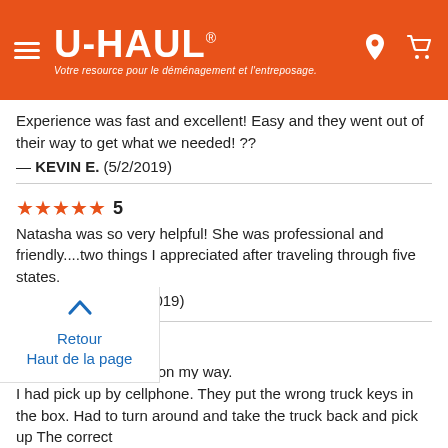U-HAUL® — Votre resource pour le déménagement et l'entreposage.
Experience was fast and excellent! Easy and they went out of their way to get what we needed! ??
— Kevin E.  (5/2/2019)
★★★★★ 5
Natasha was so very helpful! She was professional and friendly....two things I appreciated after traveling through five states.
— JANET B.  (4/23/2019)
★★★★★ 5
Very fast and got me on my way.
— Brandy B.  (4/18/2019)
Retour
Haut de la page
I had pick up by cellphone. They put the wrong truck keys in the box. Had to turn around and take the truck back and pick up The correct